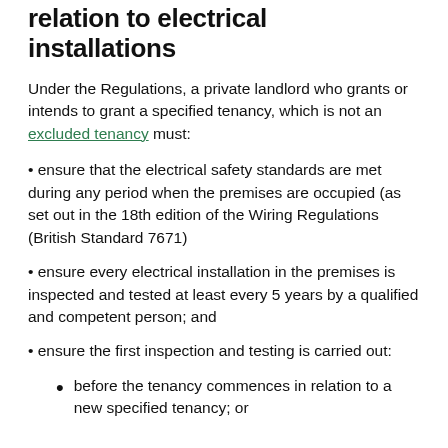relation to electrical installations
Under the Regulations, a private landlord who grants or intends to grant a specified tenancy, which is not an excluded tenancy must:
ensure that the electrical safety standards are met during any period when the premises are occupied (as set out in the 18th edition of the Wiring Regulations (British Standard 7671)
ensure every electrical installation in the premises is inspected and tested at least every 5 years by a qualified and competent person; and
ensure the first inspection and testing is carried out:
before the tenancy commences in relation to a new specified tenancy; or